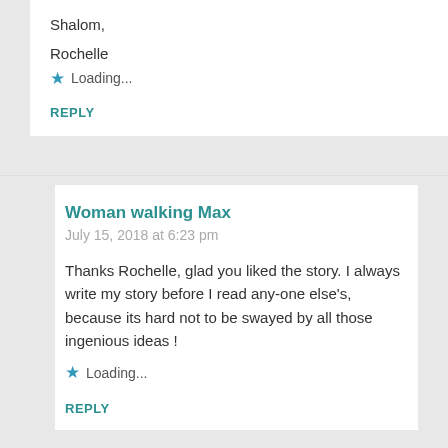Shalom,
Rochelle
Loading...
REPLY
Woman walking Max
July 15, 2018 at 6:23 pm
Thanks Rochelle, glad you liked the story. I always write my story before I read any-one else's, because its hard not to be swayed by all those ingenious ideas !
Loading...
REPLY